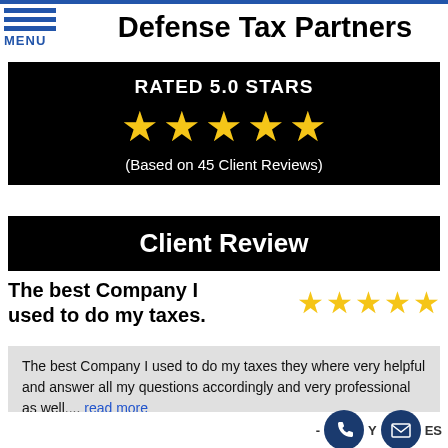Defense Tax Partners
Defense Tax Partners
RATED 5.0 STARS
(Based on 45 Client Reviews)
Client Review
The best Company I used to do my taxes.
The best Company I used to do my taxes they where very helpful and answer all my questions accordingly and very professional as well.... read more